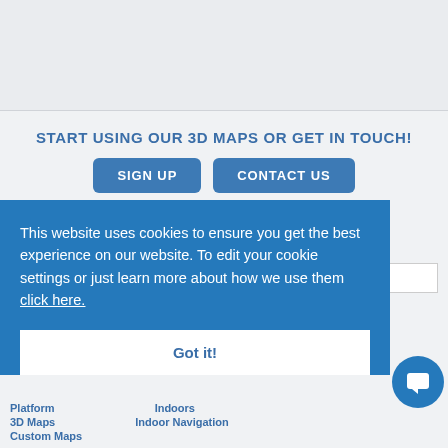START USING OUR 3D MAPS OR GET IN TOUCH!
SIGN UP
CONTACT US
SIGN UP FOR OUR NEWSLETTER
We will never share any details you provide. See also our Privacy Policy.
This website uses cookies to ensure you get the best experience on our website. To edit your cookie settings or just learn more about how we use them click here.
Got it!
Platform
Indoors
3D Maps
Indoor Navigation
Custom Maps